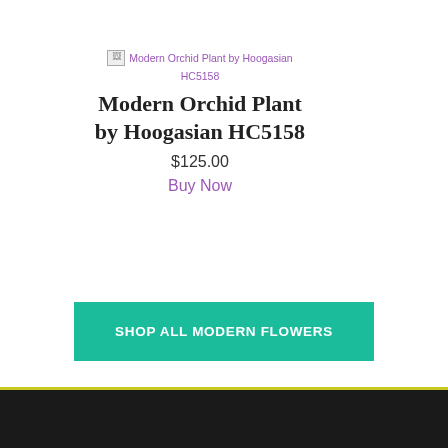[Figure (other): Broken image placeholder for 'Modern Orchid Plant by Hoogasian HC5158']
Modern Orchid Plant by Hoogasian HC5158
$125.00
Buy Now
SHOP ALL MODERN FLOWERS
Sign up for special offers!